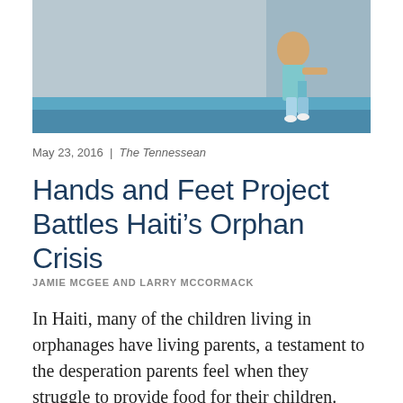[Figure (photo): A child running or playing near a wall with a teal/blue accent stripe, photographed outdoors in Haiti.]
May 23, 2016 | The Tennessean
Hands and Feet Project Battles Haiti’s Orphan Crisis
JAMIE MCGEE AND LARRY MCCORMACK
In Haiti, many of the children living in orphanages have living parents, a testament to the desperation parents feel when they struggle to provide food for their children.